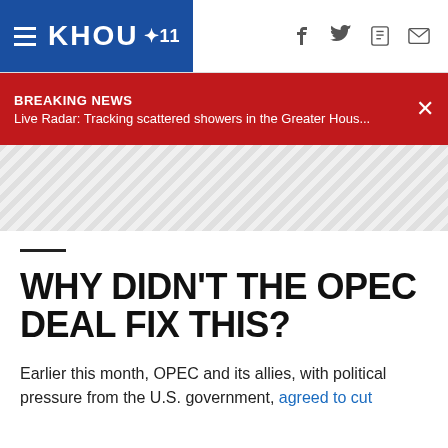KHOU 11
BREAKING NEWS
Live Radar: Tracking scattered showers in the Greater Hous...
[Figure (other): Gray diagonal striped advertisement/banner placeholder area]
WHY DIDN'T THE OPEC DEAL FIX THIS?
Earlier this month, OPEC and its allies, with political pressure from the U.S. government, agreed to cut